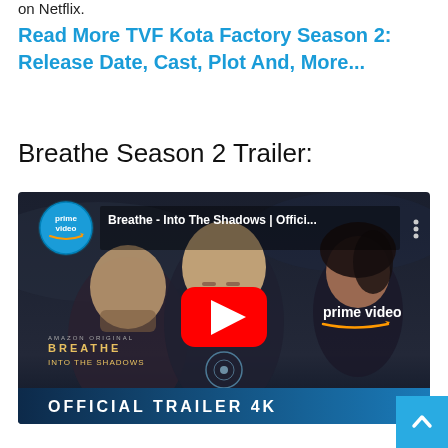on Netflix.
Read More TVF Kota Factory Season 2: Release Date, Cast, Plot And, More...
Breathe Season 2 Trailer:
[Figure (screenshot): YouTube video thumbnail for 'Breathe - Into The Shadows | Offici...' showing Amazon Prime Video official trailer 4K with three actors on a dark dramatic background and a red YouTube play button in the center.]
[Figure (other): Scroll-to-top button in light blue with an upward arrow chevron icon, positioned at bottom right.]